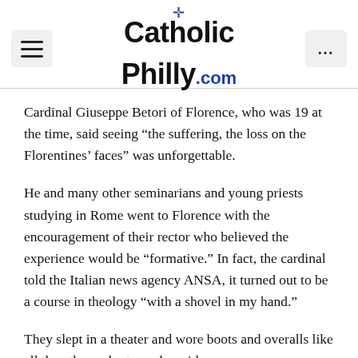CatholicPhilly.com
Cardinal Giuseppe Betori of Florence, who was 19 at the time, said seeing “the suffering, the loss on the Florentines’ faces” was unforgettable.
He and many other seminarians and young priests studying in Rome went to Florence with the encouragement of their rector who believed the experience would be “formative.” In fact, the cardinal told the Italian news agency ANSA, it turned out to be a course in theology “with a shovel in my hand.”
They slept in a theater and wore boots and overalls like all the other volunteers, he said.
While media attention buzzed around those salvaging books